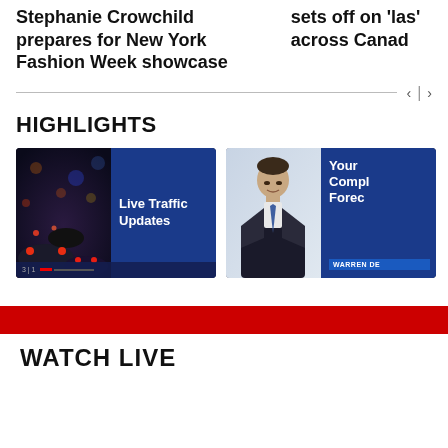Stephanie Crowchild prepares for New York Fashion Week showcase
sets off on 'las' across Canad
HIGHLIGHTS
[Figure (screenshot): Live Traffic Updates video thumbnail showing cars on road at night with blue panel]
[Figure (screenshot): Your Complete Forecast video thumbnail showing man in suit (Warren De) with blue panel]
[Figure (other): Red horizontal bar divider]
WATCH LIVE